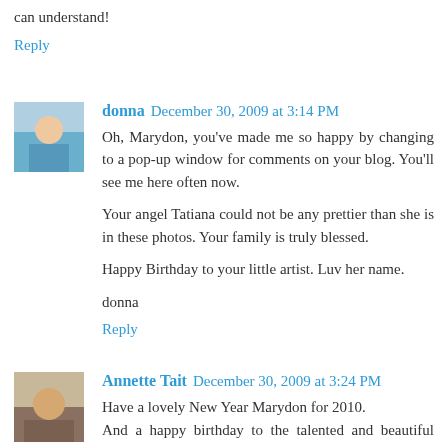can understand!
Reply
donna  December 30, 2009 at 3:14 PM
Oh, Marydon, you've made me so happy by changing to a pop-up window for comments on your blog. You'll see me here often now.

Your angel Tatiana could not be any prettier than she is in these photos. Your family is truly blessed.

Happy Birthday to your little artist. Luv her name.

donna
Reply
Annette Tait  December 30, 2009 at 3:24 PM
Have a lovely New Year Marydon for 2010.
And a happy birthday to the talented and beautiful young